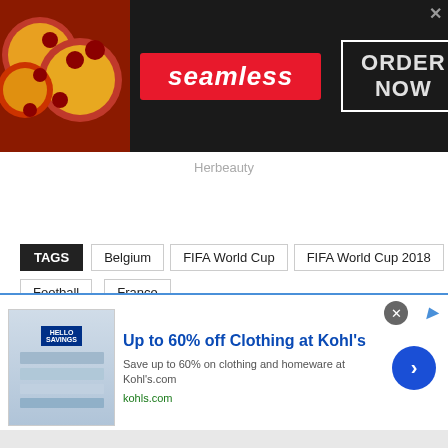[Figure (screenshot): Seamless food delivery advertisement banner with pizza image on left, Seamless logo in red box center, ORDER NOW button in white bordered box on right, dark background]
Herbeauty
TAGS Belgium FIFA World Cup FIFA World Cup 2018 Football France
[Figure (screenshot): Kohl's clothing advertisement: Up to 60% off Clothing at Kohl's. Save up to 60% on clothing and homeware at Kohl's.com. kohls.com]